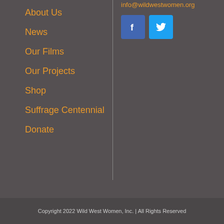info@wildwestwomen.org
About Us
News
Our Films
Our Projects
Shop
Suffrage Centennial
Donate
[Figure (logo): Facebook logo icon (blue square with white f)]
[Figure (logo): Twitter logo icon (blue square with white bird)]
Copyright 2022 Wild West Women, Inc. | All Rights Reserved